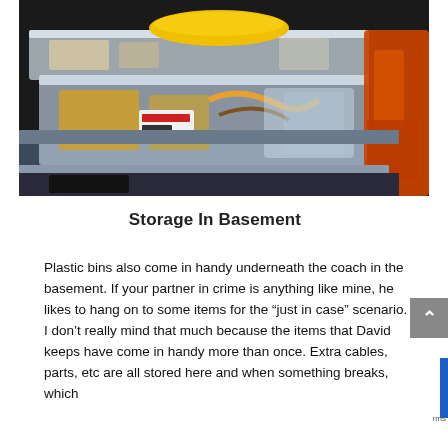[Figure (photo): Plastic storage bins stacked inside a basement or vehicle storage compartment, with an orange jacket hanging on the right side. The bins contain various items including cables, bags, and containers.]
Storage In Basement
Plastic bins also come in handy underneath the coach in the basement. If your partner in crime is anything like mine, he likes to hang on to some items for the “just in case” scenario. I don’t really mind that much because the items that David keeps have come in handy more than once. Extra cables, parts, etc are all stored here and when something breaks, which